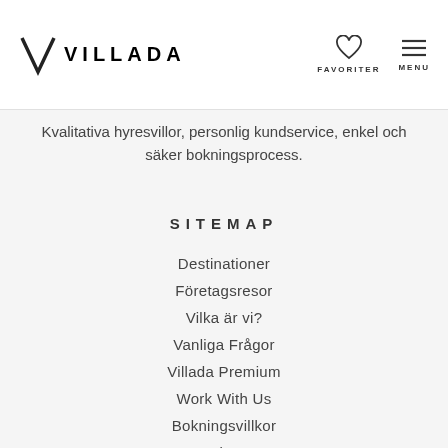VILLADA — FAVORITER — MENU
Kvalitativa hyresvillor, personlig kundservice, enkel och säker bokningsprocess.
SITEMAP
Destinationer
Företagsresor
Vilka är vi?
Vanliga Frågor
Villada Premium
Work With Us
Bokningsvillkor
Kontakta oss
Logga in
Registrera dig